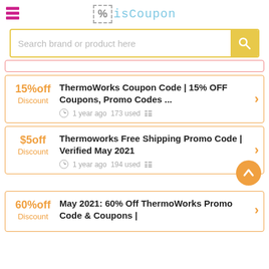[Figure (logo): isCoupon logo with hamburger menu icon on left, dashed box with % symbol and isCoupon text in center]
[Figure (screenshot): Search bar with placeholder text 'Search brand or product here' and yellow search button]
15%off Discount | ThermoWorks Coupon Code | 15% OFF Coupons, Promo Codes ... | 1 year ago 173 used
$5off Discount | Thermoworks Free Shipping Promo Code | Verified May 2021 | 1 year ago 194 used
60%off Discount | May 2021: 60% Off ThermoWorks Promo Code & Coupons |